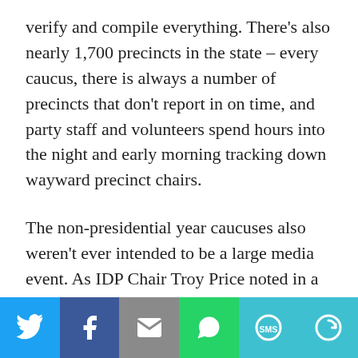verify and compile everything. There's also nearly 1,700 precincts in the state – every caucus, there is always a number of precincts that don't report in on time, and party staff and volunteers spend hours into the night and early morning tracking down wayward precinct chairs.
The non-presidential year caucuses also weren't ever intended to be a large media event. As IDP Chair Troy Price noted in a press call this week, due to how a gubernatorial convention would play out, it will be very difficult to extrapolate a candidate's standing from the results of the precinct-level caucus.
[Figure (infographic): Social sharing bar with six buttons: Twitter (blue), Facebook (dark blue), Email (gray), WhatsApp (green), SMS (teal/blue), and More (teal/blue with circular arrow icon)]